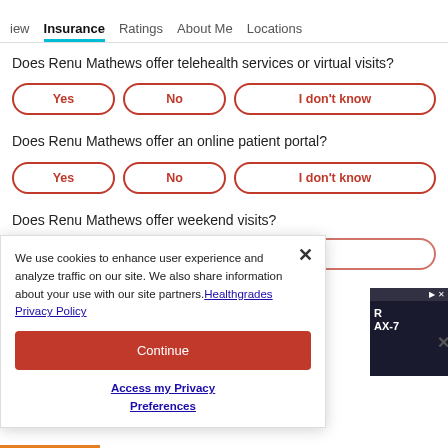iew  Insurance  Ratings  About Me  Locations
Does Renu Mathews offer telehealth services or virtual visits?
Yes  No  I don't know
Does Renu Mathews offer an online patient portal?
Yes  No  I don't know
Does Renu Mathews offer weekend visits?
We use cookies to enhance user experience and analyze traffic on our site. We also share information about your use with our site partners. Healthgrades Privacy Policy
Continue
Access my Privacy Preferences